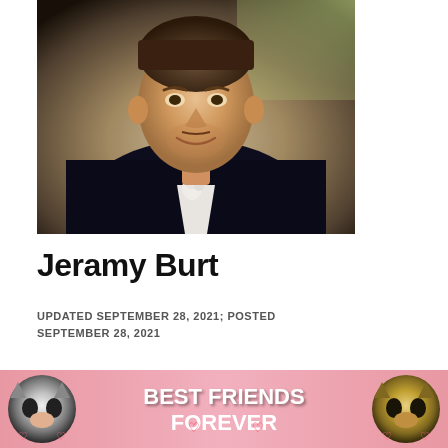[Figure (photo): Portrait photo of a young man wearing a dark jacket/suit with a white boutonniere corsage and white dress shirt, smiling, photographed outdoors with foliage in the background]
Jeramy Burt
UPDATED SEPTEMBER 28, 2021; POSTED SEPTEMBER 28, 2021
Name: Jeramy Carl Burt Age: 33 years old
[Figure (infographic): Advertisement banner with two cat face photos and text reading BEST FRIENDS FOREVER with hearts]